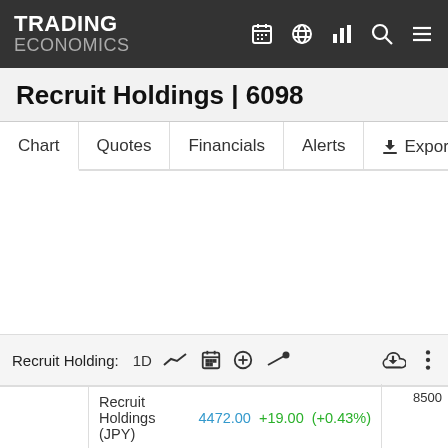TRADING ECONOMICS
Recruit Holdings | 6098
Chart  Quotes  Financials  Alerts  Export
[Figure (screenshot): Empty chart area for Recruit Holdings stock price]
Recruit Holding:  1D  [chart controls]  8500
Recruit Holdings (JPY)  4472.00  +19.00  (+0.43%)